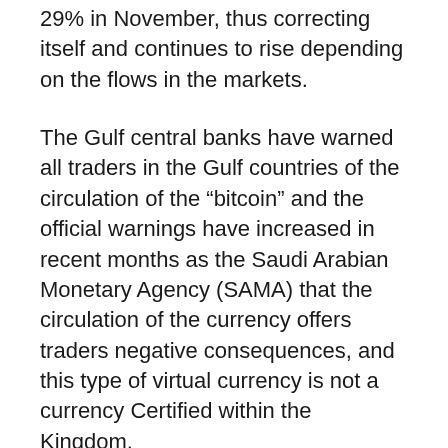29% in November, thus correcting itself and continues to rise depending on the flows in the markets.
The Gulf central banks have warned all traders in the Gulf countries of the circulation of the “bitcoin” and the official warnings have increased in recent months as the Saudi Arabian Monetary Agency (SAMA) that the circulation of the currency offers traders negative consequences, and this type of virtual currency is not a currency Certified within the Kingdom.
The United States, the world’s largest economy, has yet to officially recognize the digital currency. Germany is the only country to officially recognize Petequin as a form of electronic money. The German government has said it can tax the profits